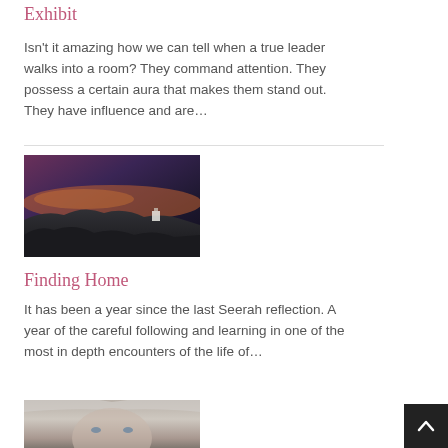Exhibit
Isn't it amazing how we can tell when a true leader walks into a room? They command attention. They possess a certain aura that makes them stand out. They have influence and are…
[Figure (photo): Dramatic landscape photo of rocky terrain with a small structure, dark purple and orange sunset sky]
Finding Home
It has been a year since the last Seerah reflection. A year of the careful following and learning in one of the most in depth encounters of the life of…
[Figure (photo): Portrait photo of an elderly person with white/grey hair and blue eyes]